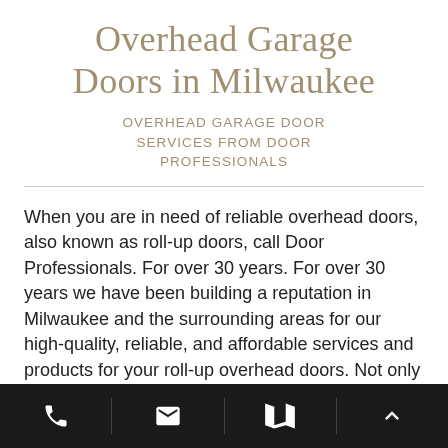Overhead Garage Doors in Milwaukee
OVERHEAD GARAGE DOOR SERVICES FROM DOOR PROFESSIONALS
When you are in need of reliable overhead doors, also known as roll-up doors, call Door Professionals. For over 30 years. For over 30 years we have been building a reputation in Milwaukee and the surrounding areas for our high-quality, reliable, and affordable services and products for your roll-up overhead doors. Not only do we have the skills and experience
[phone icon] [email icon] [map icon] [up arrow icon]